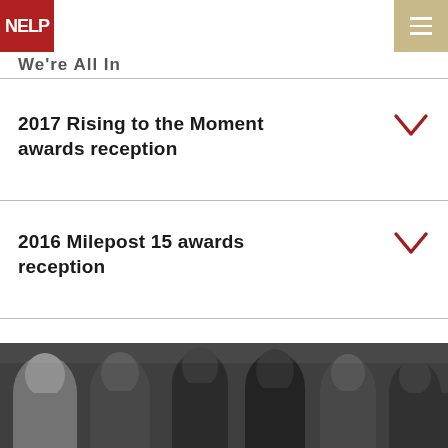NELP
We're All In
2017 Rising to the Moment awards reception
2016 Milepost 15 awards reception
[Figure (photo): Black and white group photo of people at an event or gathering, showing multiple individuals facing the camera]